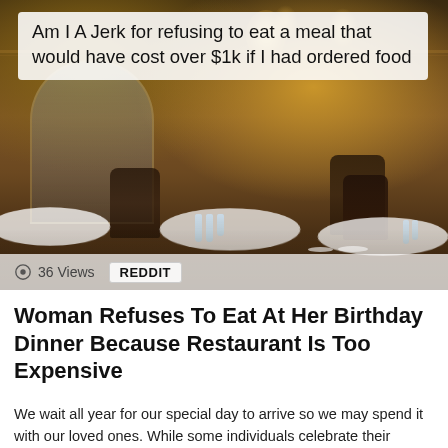[Figure (photo): Interior of an upscale restaurant with white tablecloths, dark leather chairs, chandeliers, and ornate architecture. Overlay text box reads: Am I A Jerk for refusing to eat a meal that would have cost over $1k if I had ordered food. Bottom bar shows 36 Views and REDDIT badge.]
Woman Refuses To Eat At Her Birthday Dinner Because Restaurant Is Too Expensive
We wait all year for our special day to arrive so we may spend it with our loved ones. While some individuals celebrate their birthdays privately, others organize a big celebration and invite as many individuals as they can. However, not everyone is okay with throwing money away. Here is a similar story of a [...] MORE
by Mary Sue
about 16 hours ago